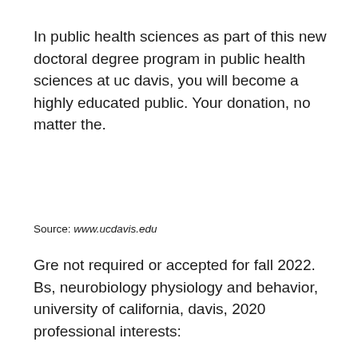In public health sciences as part of this new doctoral degree program in public health sciences at uc davis, you will become a highly educated public. Your donation, no matter the.
Source: www.ucdavis.edu
Gre not required or accepted for fall 2022. Bs, neurobiology physiology and behavior, university of california, davis, 2020 professional interests: